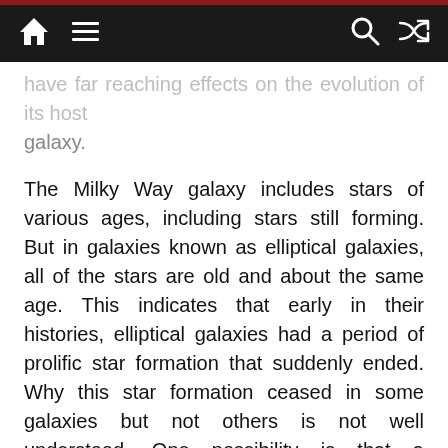Navigation bar with home, menu, search, and shuffle icons
have far reaching effects on the evolution of its host galaxy.
The Milky Way galaxy includes stars of various ages, including stars still forming. But in galaxies known as elliptical galaxies, all of the stars are old and about the same age. This indicates that early in their histories, elliptical galaxies had a period of prolific star formation that suddenly ended. Why this star formation ceased in some galaxies but not others is not well understood. One possibility is that a supermassive black hole disrupts the gas in some galaxies, creating an environment unsuitable for star formation.
To test this theory, astronomers look at distant galaxies. Due to the finite speed of light, it takes time